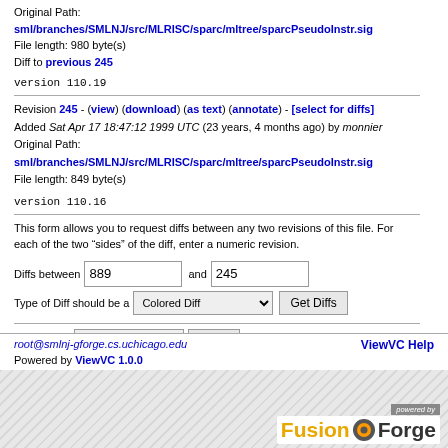Original Path: sml/branches/SMLNJ/src/MLRISC/sparc/mltree/sparcPseudoInstr.sig
File length: 980 byte(s)
Diff to previous 245
version 110.19
Revision 245 - (view) (download) (as text) (annotate) - [select for diffs]
Added Sat Apr 17 18:47:12 1999 UTC (23 years, 4 months ago) by monnier
Original Path: sml/branches/SMLNJ/src/MLRISC/sparc/mltree/sparcPseudoInstr.sig
File length: 849 byte(s)
version 110.16
This form allows you to request diffs between any two revisions of this file. For each of the two "sides" of the diff, enter a numeric revision.
Diffs between 889 and 245
Type of Diff should be a Colored Diff [Get Diffs]
Sort log by: Commit date [Sort]
root@smlnj-gforge.cs.uchicago.edu   ViewVC Help
Powered by ViewVC 1.0.0